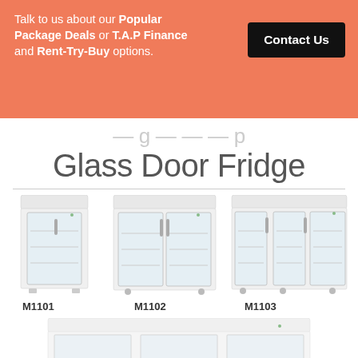Talk to us about our Popular Package Deals or T.A.P Finance and Rent-Try-Buy options.
Contact Us
Glass Door Fridge
[Figure (photo): Three commercial glass door refrigerators: M1101 (single door), M1102 (double door), M1103 (triple door)]
M1101
M1102
M1103
[Figure (photo): Bottom portion of a large commercial glass door refrigerator/fridge, partially visible]